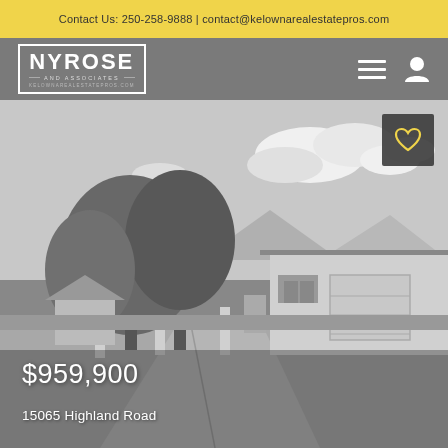Contact Us: 250-258-9888 | contact@kelownarealestatepros.com
[Figure (logo): Nyrose and Associates logo — NYROSE in bold white text with border, tagline AND ASSOCIATES, website kelownarealestatepros.com]
[Figure (photo): Grayscale exterior photo of a residential property at 15065 Highland Road. One-storey home with attached garage, large trees in front, driveway visible, cloudy sky.]
$959,900
15065 Highland Road